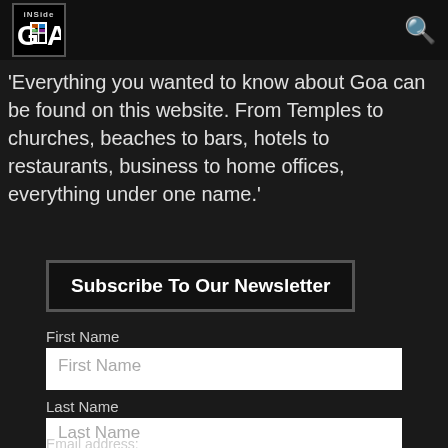Inside Goa
'Everything you wanted to know about Goa can be found on this website. From Temples to churches, beaches to bars, hotels to restaurants, business to home offices, everything under one name.'
Subscribe To Our Newsletter
First Name
Last Name
Email address: